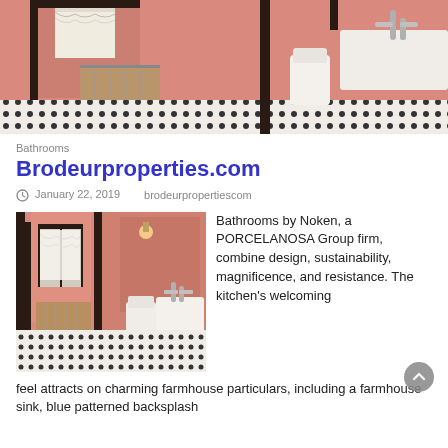[Figure (photo): Vintage pink-tiled bathroom with black trim, white sink, toilet, and black-and-white checkered floor tile. Wide panoramic view.]
Bathrooms
Brodeurproperties.com
January 22, 2019    brodeurpropertiescom
[Figure (photo): Vintage pink-tiled bathroom with black trim, curtained window, toilet, sink, and black-and-white checkered floor.]
Bathrooms by Noken, a PORCELANOSA Group firm, combine design, sustainability, magnificence, and resistance. The kitchen's welcoming feel attracts on charming farmhouse particulars, including a farmhouse sink, blue patterned backsplash